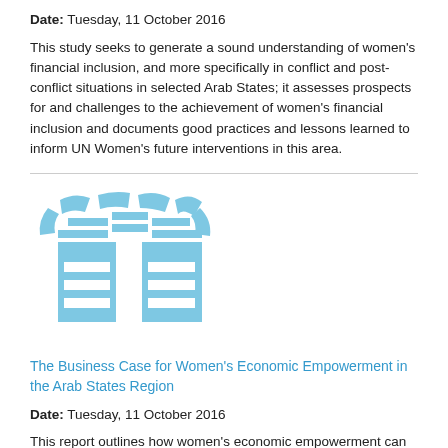Date: Tuesday, 11 October 2016
This study seeks to generate a sound understanding of women's financial inclusion, and more specifically in conflict and post-conflict situations in selected Arab States; it assesses prospects for and challenges to the achievement of women's financial inclusion and documents good practices and lessons learned to inform UN Women's future interventions in this area.
[Figure (logo): UN Women logo in light blue]
The Business Case for Women's Economic Empowerment in the Arab States Region
Date: Tuesday, 11 October 2016
This report outlines how women's economic empowerment can be used as a strategic tool to assist policy-makers and companies to reach their growth-related goals.